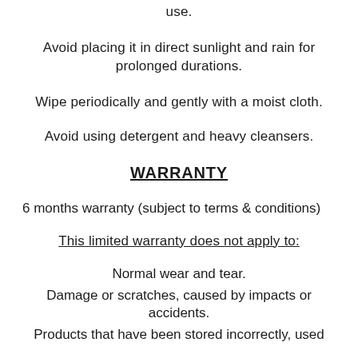use.
Avoid placing it in direct sunlight and rain for prolonged durations.
Wipe periodically and gently with a moist cloth.
Avoid using detergent and heavy cleansers.
WARRANTY
6 months warranty (subject to terms & conditions)
This limited warranty does not apply to:
Normal wear and tear.
Damage or scratches, caused by impacts or accidents.
Products that have been stored incorrectly, used